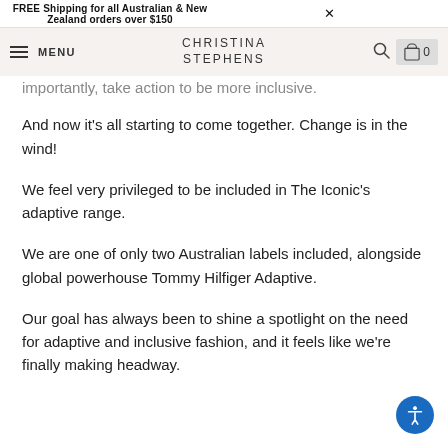FREE Shipping for all Australian & New Zealand orders over $150  ×
MENU  CHRISTINA STEPHENS  [search] [cart] 0
importantly, take action to be more inclusive.
And now it's all starting to come together. Change is in the wind!
We feel very privileged to be included in The Iconic's adaptive range.
We are one of only two Australian labels included, alongside global powerhouse Tommy Hilfiger Adaptive.
Our goal has always been to shine a spotlight on the need for adaptive and inclusive fashion, and it feels like we're finally making headway.